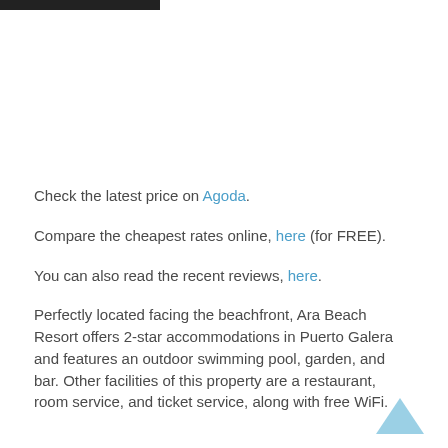Check the latest price on Agoda.
Compare the cheapest rates online, here (for FREE).
You can also read the recent reviews, here.
Perfectly located facing the beachfront, Ara Beach Resort offers 2-star accommodations in Puerto Galera and features an outdoor swimming pool, garden, and bar. Other facilities of this property are a restaurant, room service, and ticket service, along with free WiFi.